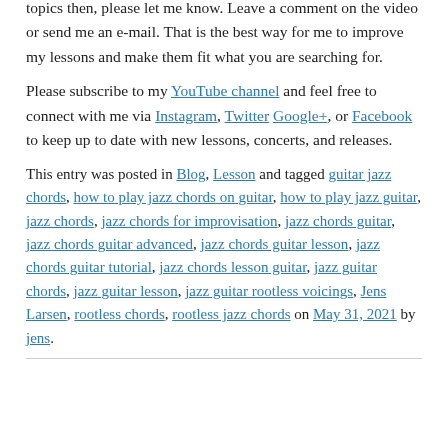topics then, please let me know. Leave a comment on the video or send me an e-mail. That is the best way for me to improve my lessons and make them fit what you are searching for.
Please subscribe to my YouTube channel and feel free to connect with me via Instagram, Twitter Google+, or Facebook to keep up to date with new lessons, concerts, and releases.
This entry was posted in Blog, Lesson and tagged guitar jazz chords, how to play jazz chords on guitar, how to play jazz guitar, jazz chords, jazz chords for improvisation, jazz chords guitar, jazz chords guitar advanced, jazz chords guitar lesson, jazz chords guitar tutorial, jazz chords lesson guitar, jazz guitar chords, jazz guitar lesson, jazz guitar rootless voicings, Jens Larsen, rootless chords, rootless jazz chords on May 31, 2021 by jens.